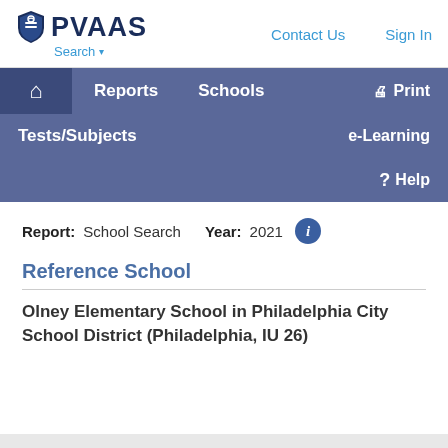PVAAS Search | Contact Us | Sign In
Reports  Schools  Print  Tests/Subjects  e-Learning  Help
Report: School Search   Year: 2021
Reference School
Olney Elementary School in Philadelphia City School District (Philadelphia, IU 26)